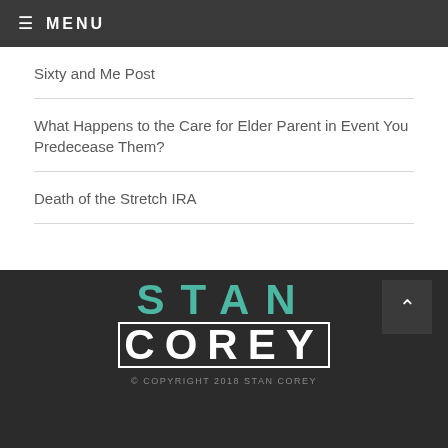≡ MENU
Sixty and Me Post
What Happens to the Care for Elder Parent in Event You Predecease Them?
Death of the Stretch IRA
[Figure (logo): Stan Corey logo with STAN in teal and COREY in white on dark background]
© COPYRIGHT 2018 STAN COREY